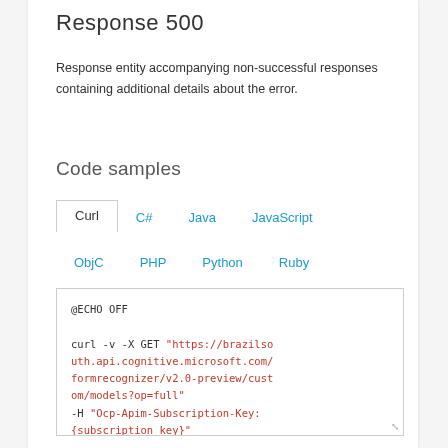Response 500
Response entity accompanying non-successful responses containing additional details about the error.
Code samples
Curl  C#  Java  JavaScript  ObjC  PHP  Python  Ruby
@ECHO OFF

curl -v -X GET "https://brazilsouth.api.cognitive.microsoft.com/formrecognizer/v2.0-preview/custom/models?op=full"
-H "Ocp-Apim-Subscription-Key: {subscription key}"

--data-ascii "{body}"